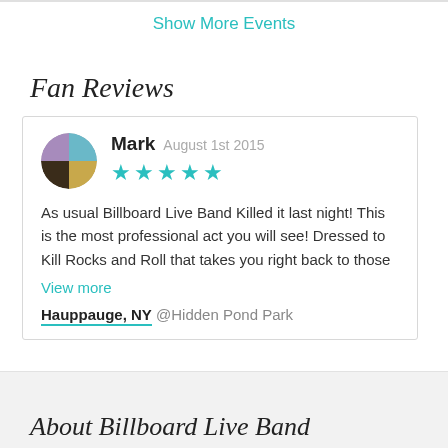Show More Events
Fan Reviews
Mark August 1st 2015 ★★★★★ As usual Billboard Live Band Killed it last night! This is the most professional act you will see! Dressed to Kill Rocks and Roll that takes you right back to those View more Hauppauge, NY @Hidden Pond Park
About Billboard Live Band